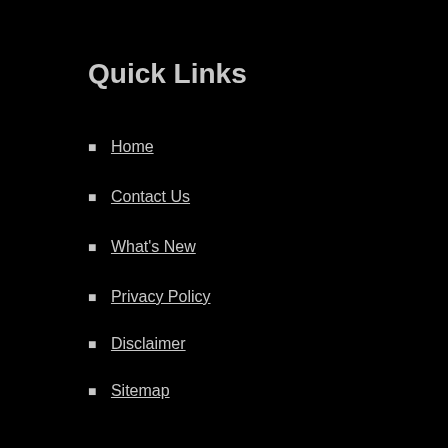Quick Links
Home
Contact Us
What's New
Privacy Policy
Disclaimer
Sitemap
Important Links
About Us
Eye Care Services
Eyeglasses & Contacts